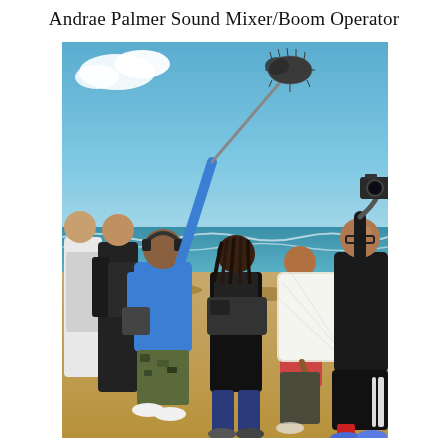Andrae Palmer Sound Mixer/Boom Operator
[Figure (photo): Film crew working on a beach. A man in a blue shirt and camouflage shorts holds a boom microphone pole with a furry windscreen up high. Several other crew members are present including a cameraman with a gimbal-mounted camera, a person holding a reflector board, and others. The setting is a sandy beach with ocean waves and a blue sky with clouds in the background.]